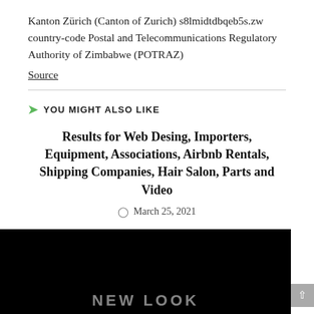Kanton Zürich (Canton of Zurich) s8lmidtdbqeb5s.zw country-code Postal and Telecommunications Regulatory Authority of Zimbabwe (POTRAZ)
Source
YOU MIGHT ALSO LIKE
Results for Web Desing, Importers, Equipment, Associations, Airbnb Rentals, Shipping Companies, Hair Salon, Parts and Video
March 25, 2021
[Figure (photo): Black image background with partial white text reading 'NEW LOOK' at the bottom]